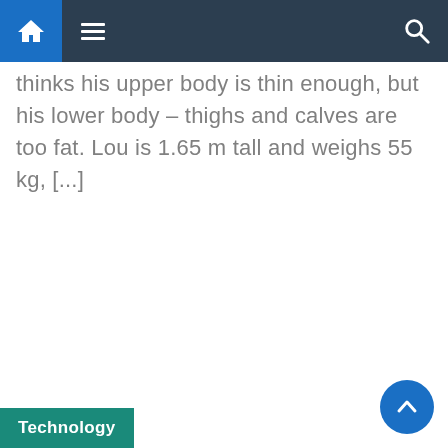Navigation bar with home, menu, and search icons
thinks his upper body is thin enough, but his lower body – thighs and calves are too fat. Lou is 1.65 m tall and weighs 55 kg, [...]
Technology